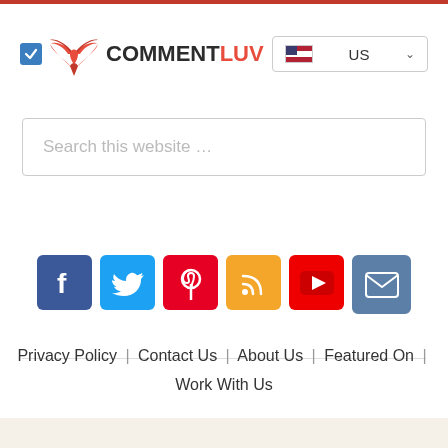[Figure (logo): CommentLuv logo with red phoenix/wings icon and checkbox, plus US language selector dropdown]
Search this website …
[Figure (infographic): Social media icons: Facebook, Twitter, Pinterest, RSS, YouTube, Email]
Privacy Policy | Contact Us | About Us | Featured On | Work With Us